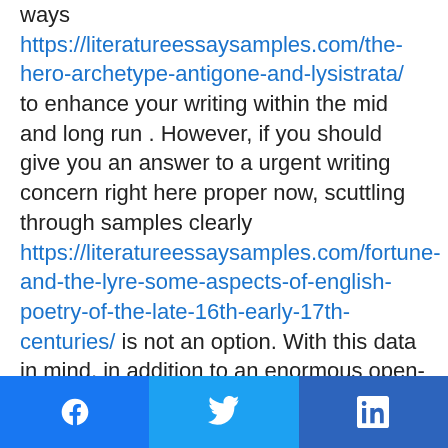ways https://literatureessaysamples.com/the-hero-archetype-antigone-and-lysistrata/ to enhance your writing within the mid and long run . However, if you should give you an answer to a urgent writing concern right here proper now, scuttling through samples clearly https://literatureessaysamples.com/fortune-and-the-lyre-some-aspects-of-english-poetry-of-the-late-16th-early-17th-centuries/ is not an option. With this data in mind, in addition to an enormous open-access database, WowEssays additionally offers complete writing providers. Another important side of Wow Essays service is that we do not restrict our helpful supplies to essays solely.
(No, we arenâ  t crazy â   we expect) At